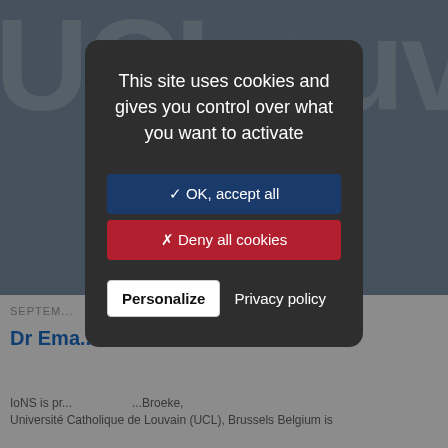[Figure (screenshot): Background showing UCLouvain website with large logo text at top and article snippet at bottom]
This site uses cookies and gives you control over what you want to activate
✓ OK, accept all
✗ Deny all cookies
Personalize
Privacy policy